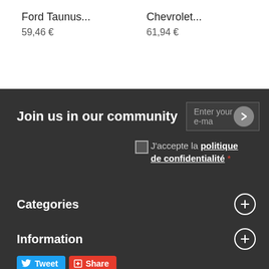Ford Taunus...
59,46 €
Chevrolet...
61,94 €
Co...
61,9...
Join us in our community
Enter your e-ma[il]
J'accepte la politique de confidentialité *
Categories
Information
Tweet  Share
My account